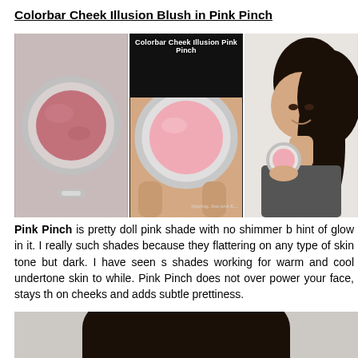Colorbar Cheek Illusion Blush in Pink Pinch
[Figure (photo): Three product photos: left shows a closed compact of Colorbar Cheek Illusion Blush with a rosy pink pan, center shows an open compact labeled 'Colorbar Cheek Illusion Pink Pinch' with a light pink blush pan, right shows a smiling woman with dark hair holding the compact.]
Pink Pinch is pretty doll pink shade with no shimmer b... hint of glow in it. I really such shades because they flattering on any type of skin tone but dark. I have seen s... shades working for warm and cool undertone skin to... while. Pink Pinch does not over power your face, stays th... on cheeks and adds subtle prettiness.
[Figure (photo): Partial photo of a woman with dark hair, cropped at bottom of page.]